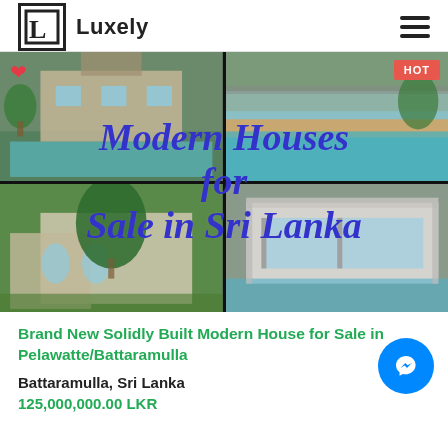Luxely
[Figure (photo): Collage of four photographs showing modern houses with swimming pools in Sri Lanka. Overlaid with the text 'Modern Houses for Sale in Sri Lanka' in bold italic blue/purple text. A red HOT badge is in the top right corner and a red heart icon in the top left.]
Brand New Solidly Built Modern House for Sale in Pelawatte/Battaramulla
Battaramulla, Sri Lanka
125,000,000.00 LKR